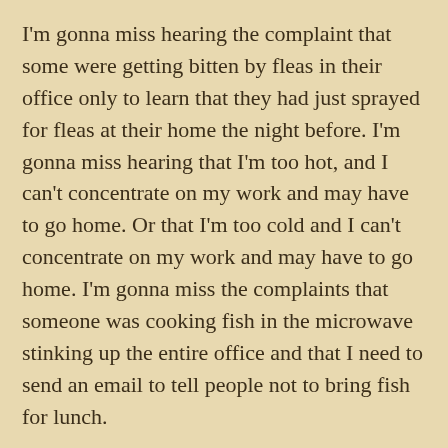I'm gonna miss hearing the complaint that some were getting bitten by fleas in their office only to learn that they had just sprayed for fleas at their home the night before. I'm gonna miss hearing that I'm too hot, and I can't concentrate on my work and may have to go home. Or that I'm too cold and I can't concentrate on my work and may have to go home. I'm gonna miss the complaints that someone was cooking fish in the microwave stinking up the entire office and that I need to send an email to tell people not to bring fish for lunch.
I'm gonna miss being asked to tell people to flush the toilet when they finish or to tell them to stop peeing on the seat. I'm gonna miss receiving requests to tell people to wash their hands after using the restroom or to tell them to not use their cell phones while other people are using the restroom or that I need to post a sign in the restroom on proper restroom etiquette. I'm gonna miss hearing that something in the office from somewhere is...